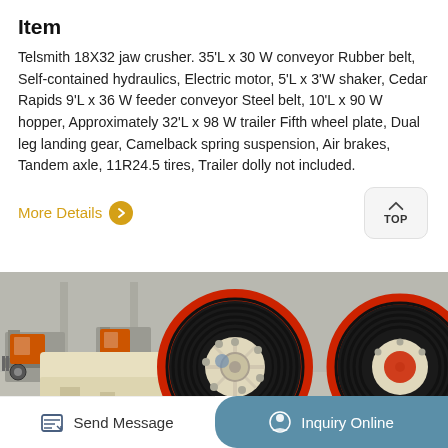Item
Telsmith 18X32 jaw crusher. 35'L x 30 W conveyor Rubber belt, Self-contained hydraulics, Electric motor, 5'L x 3'W shaker, Cedar Rapids 9'L x 36 W feeder conveyor Steel belt, 10'L x 90 W hopper, Approximately 32'L x 98 W trailer Fifth wheel plate, Dual leg landing gear, Camelback spring suspension, Air brakes, Tandem axle, 11R24.5 tires, Trailer dolly not included.
More Details
[Figure (photo): Close-up photo of a Telsmith 18X32 jaw crusher showing large black and red pulleys/wheels mounted on cream-colored frame, with forklifts visible in background]
Send Message
Inquiry Online